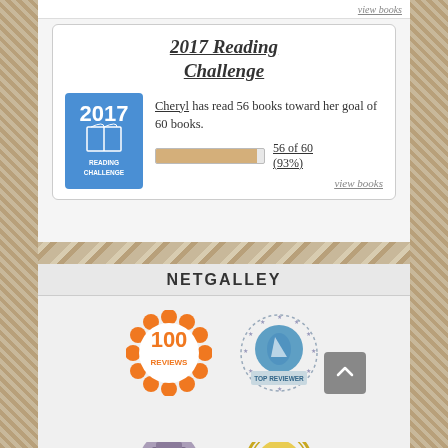view books
2017 Reading Challenge
Cheryl has read 56 books toward her goal of 60 books.
56 of 60 (93%)
view books
NETGALLEY
[Figure (logo): Orange scalloped circle badge with '100 REVIEWS' text]
[Figure (logo): Blue circle with star border 'TOP REVIEWER' NetGalley badge]
[Figure (logo): Partial badge at bottom left - purple/grey stamp-like icon]
[Figure (logo): Partial gold/yellow NetGalley Member badge at bottom right]